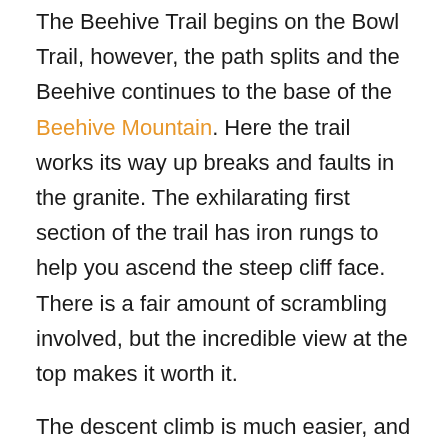The Beehive Trail begins on the Bowl Trail, however, the path splits and the Beehive continues to the base of the Beehive Mountain. Here the trail works its way up breaks and faults in the granite. The exhilarating first section of the trail has iron rungs to help you ascend the steep cliff face. There is a fair amount of scrambling involved, but the incredible view at the top makes it worth it.
The descent climb is much easier, and you have the choice of returning through a deciduous forest to the Bowl Trail, or via the longer Gorham Mountain Trails and Ocean Path back to Sand Beach. Descending the Beehive is